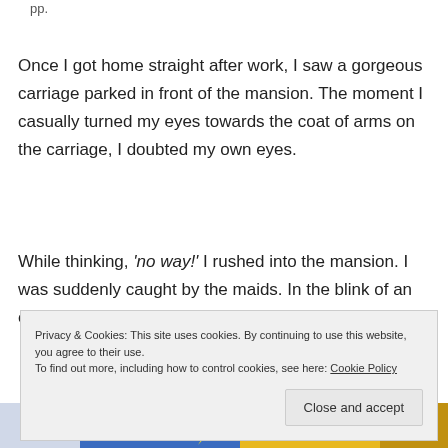pp.
Once I got home straight after work, I saw a gorgeous carriage parked in front of the mansion. The moment I casually turned my eyes towards the coat of arms on the carriage, I doubted my own eyes.
While thinking, ‘no way!’ I rushed into the mansion. I was suddenly caught by the maids. In the blink of an eye, I was all
Privacy & Cookies: This site uses cookies. By continuing to use this website, you agree to their use.
To find out more, including how to control cookies, see here: Cookie Policy
Close and accept
[Figure (illustration): Partial view of a colorful illustration visible at the bottom of the page, showing yellow and blue cartoon-style elements.]